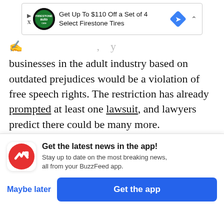[Figure (screenshot): Advertisement banner for Firestone Tires: 'Get Up To $110 Off a Set of 4 Select Firestone Tires' with a Firestone auto logo circle and a blue diamond navigation icon.]
businesses in the adult industry based on outdated prejudices would be a violation of free speech rights. The restriction has already prompted at least one lawsuit, and lawyers predict there could be many more.
ADVERTISEMENT
[Figure (other): Black advertisement banner bar]
Get the latest news in the app! Stay up to date on the most breaking news, all from your BuzzFeed app.